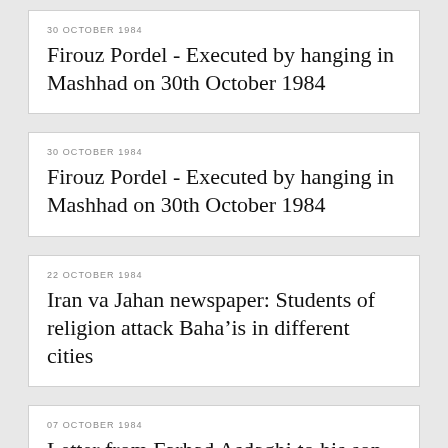30 OCTOBER 1984
Firouz Pordel - Executed by hanging in Mashhad on 30th October 1984
30 OCTOBER 1984
Firouz Pordel - Executed by hanging in Mashhad on 30th October 1984
22 OCTOBER 1984
Iran va Jahan newspaper: Students of religion attack Baha’is in different cities
07 OCTOBER 1984
Letter from Farhad Asdaghi to his son, Bashir, from Evin prison
23 SEPTEMBER 1984
Sl...